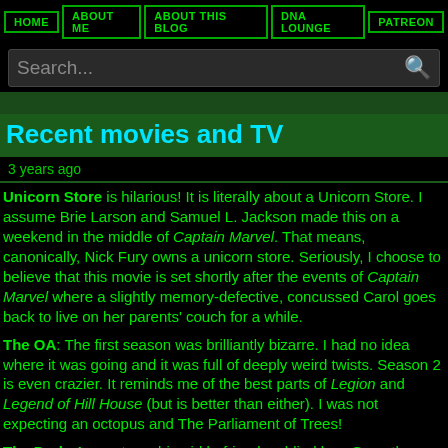HOME | ABOUT ME | ABOUT THIS BLOG | DNA LOUNGE | PATREON
Recent movies and TV
3 years ago
Unicorn Store is hilarious! It is literally about a Unicorn Store. I assume Brie Larson and Samuel L. Jackson made this on a weekend in the middle of Captain Marvel. That means, canonically, Nick Fury owns a unicorn store. Seriously, I choose to believe that this movie is set shortly after the events of Captain Marvel where a slightly memory-defective, concussed Carol goes back to live on her parents' couch for a while.
The OA: The first season was brilliantly bizarre. I had no idea where it was going and it was full of deeply weird twists. Season 2 is even crazier. It reminds me of the best parts of Legion and Legend of Hill House (but is better than either). I was not expecting an octopus and The Parliament of Trees!
The Dark: A smart zombie girl befriends a blind boy. Soon they learn that the real monster was in their hearts the whole time. Actually it was pretty good.
Love Death and Robots: Almost all of these were great. It was...